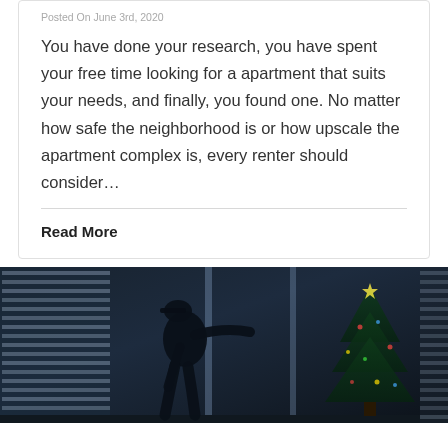Posted On June 3rd, 2020
You have done your research, you have spent your free time looking for a apartment that suits your needs, and finally, you found one. No matter how safe the neighborhood is or how upscale the apartment complex is, every renter should consider…
Read More
[Figure (photo): Dark silhouette of a person breaking into a home through a sliding glass door at night, with a Christmas tree visible in the background and window blinds on the left side of the frame.]